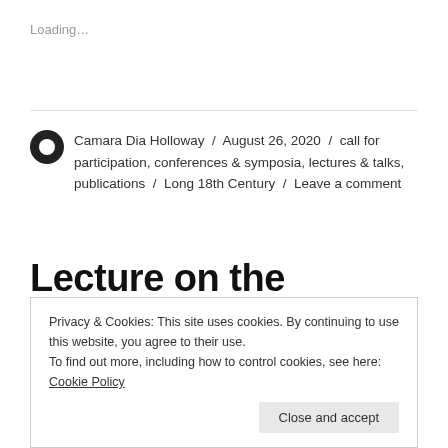Loading…
Camara Dia Holloway / August 26, 2020 / call for participation, conferences & symposia, lectures & talks, publications / Long 18th Century / Leave a comment
Lecture on the Making of the American “Oriental”
Privacy & Cookies: This site uses cookies. By continuing to use this website, you agree to their use.
To find out more, including how to control cookies, see here: Cookie Policy
Close and accept